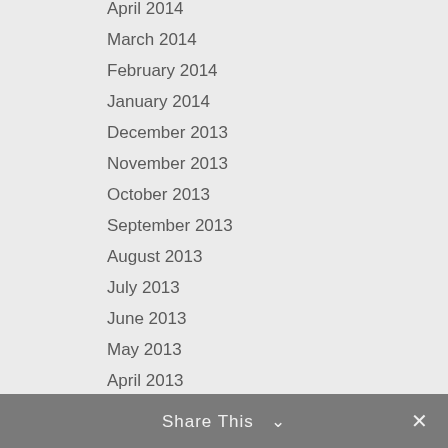April 2014
March 2014
February 2014
January 2014
December 2013
November 2013
October 2013
September 2013
August 2013
July 2013
June 2013
May 2013
April 2013
March 2013
February 2013
January 2013
December 2012
November 2012
October 2012
Share This  ∨   ✕